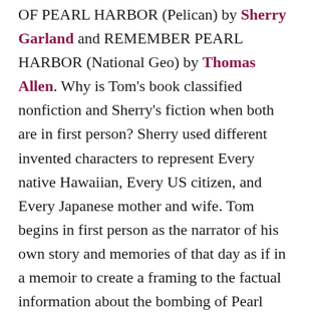OF PEARL HARBOR (Pelican) by Sherry Garland and REMEMBER PEARL HARBOR (National Geo) by Thomas Allen. Why is Tom's book classified nonfiction and Sherry's fiction when both are in first person? Sherry used different invented characters to represent Every native Hawaiian, Every US citizen, and Every Japanese mother and wife. Tom begins in first person as the narrator of his own story and memories of that day as if in a memoir to create a framing to the factual information about the bombing of Pearl Harbor during World War II. Notice that Tom put all dialogue in direct quotes in his book.